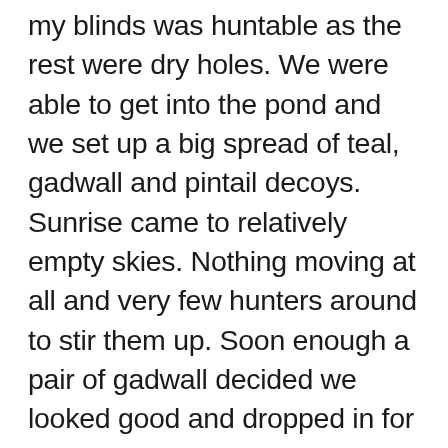my blinds was huntable as the rest were dry holes. We were able to get into the pond and we set up a big spread of teal, gadwall and pintail decoys. Sunrise came to relatively empty skies. Nothing moving at all and very few hunters around to stir them up. Soon enough a pair of gadwall decided we looked good and dropped in for a visit and never left. The teal then started buzzing around and a few large flocks of 25-30 banked close to us, but we did not get a shot off. Another group approached and we got 1 Green Wing Teal. Then the action slowed to nothing and the decoys started to lay on their sides as the water was still falling out hard. We decided to get out while we still could and call it a day.